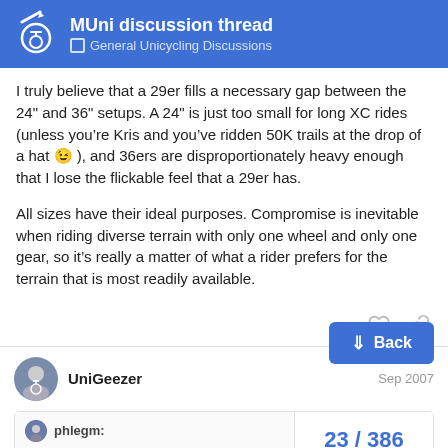MUni discussion thread — General Unicycling Discussions
I truly believe that a 29er fills a necessary gap between the 24" and 36" setups. A 24" is just too small for long XC rides (unless you're Kris and you've ridden 50K trails at the drop of a hat 😉), and 36ers are disproportionately heavy enough that I lose the flickable feel that a 29er has.
All sizes have their ideal purposes. Compromise is inevitable when riding diverse terrain with only one wheel and only one gear, so it's really a matter of what a rider prefers for the terrain that is most readily available.
UniGeezer  Sep 2007
phlegm:
I run a WTB Exiwolf 2.2" at around 24 ps
23 / 386